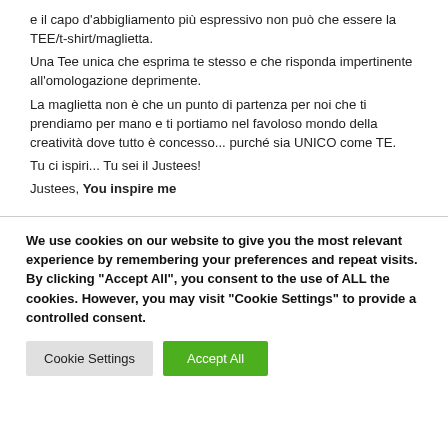e il capo d'abbigliamento più espressivo non può che essere la TEE/t-shirt/maglietta.
Una Tee unica che esprima te stesso e che risponda impertinente all'omologazione deprimente.
La maglietta non è che un punto di partenza per noi che ti prendiamo per mano e ti portiamo nel favoloso mondo della creatività dove tutto è concesso... purché sia UNICO come TE.
Tu ci ispiri... Tu sei il Justees!
Justees, You inspire me
We use cookies on our website to give you the most relevant experience by remembering your preferences and repeat visits. By clicking "Accept All", you consent to the use of ALL the cookies. However, you may visit "Cookie Settings" to provide a controlled consent.